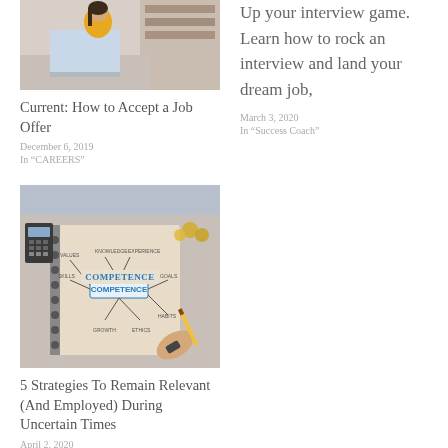[Figure (photo): Woman in yellow sweater sitting at desk with laptop in a library or office setting]
Current: How to Accept a Job Offer
December 6, 2019
In "CAREERS"
Up your interview game. Learn how to rock an interview and land your dream job,
March 3, 2020
In "Success Coach"
[Figure (photo): Notebook with mind map centered on word COMPETENCE, with calculator, coins, pencil, and other items on desk]
5 Strategies To Remain Relevant (And Employed) During Uncertain Times
April 2, 2020
In "Success Coach"